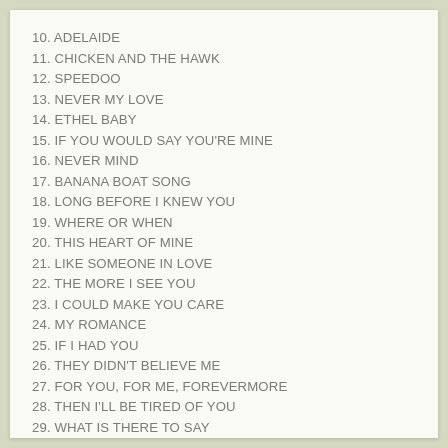10. ADELAIDE
11. CHICKEN AND THE HAWK
12. SPEEDOO
13. NEVER MY LOVE
14. ETHEL BABY
15. IF YOU WOULD SAY YOU'RE MINE
16. NEVER MIND
17. BANANA BOAT SONG
18. LONG BEFORE I KNEW YOU
19. WHERE OR WHEN
20. THIS HEART OF MINE
21. LIKE SOMEONE IN LOVE
22. THE MORE I SEE YOU
23. I COULD MAKE YOU CARE
24. MY ROMANCE
25. IF I HAD YOU
26. THEY DIDN'T BELIEVE ME
27. FOR YOU, FOR ME, FOREVERMORE
28. THEN I'LL BE TIRED OF YOU
29. WHAT IS THERE TO SAY